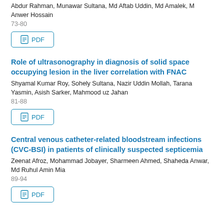Abdur Rahman, Munawar Sultana, Md Aftab Uddin, Md Amalek, M Anwer Hossain
73-80
[Figure (other): PDF download button]
Role of ultrasonography in diagnosis of solid space occupying lesion in the liver correlation with FNAC
Shyamal Kumar Roy, Sohely Sultana, Nazir Uddin Mollah, Tarana Yasmin, Asish Sarker, Mahmood uz Jahan
81-88
[Figure (other): PDF download button]
Central venous catheter-related bloodstream infections (CVC-BSI) in patients of clinically suspected septicemia
Zeenat Afroz, Mohammad Jobayer, Sharmeen Ahmed, Shaheda Anwar, Md Ruhul Amin Mia
89-94
[Figure (other): PDF download button]